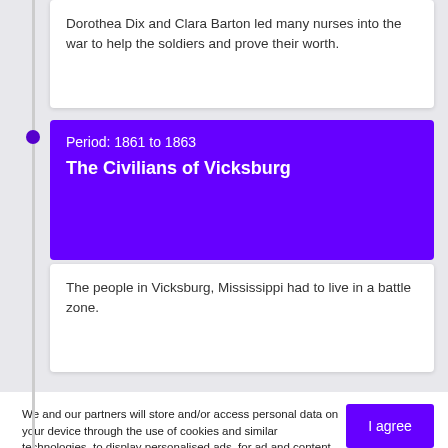Dorothea Dix and Clara Barton led many nurses into the war to help the soldiers and prove their worth.
Period: 1861 to 1863
The Civilians of Vicksburg
The people in Vicksburg, Mississippi had to live in a battle zone.
We and our partners will store and/or access personal data on your device through the use of cookies and similar technologies, to display personalised ads, for ad and content measurement, audience insights and product development.

By clicking 'I agree,' you consent to this, or you can manage your preferences.